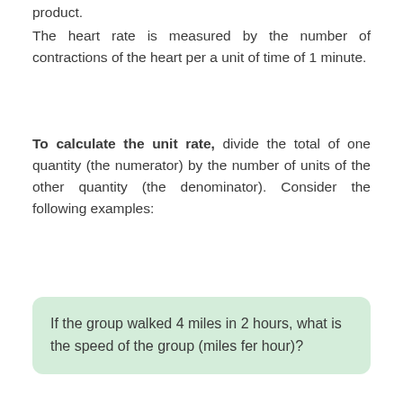product.
The heart rate is measured by the number of contractions of the heart per a unit of time of 1 minute.
To calculate the unit rate, divide the total of one quantity (the numerator) by the number of units of the other quantity (the denominator). Consider the following examples:
If the group walked 4 miles in 2 hours, what is the speed of the group (miles fer hour)?